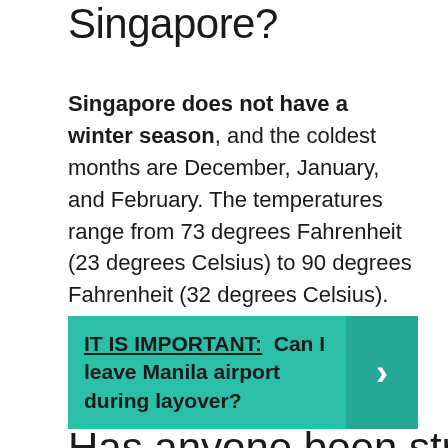Singapore?
Singapore does not have a winter season, and the coldest months are December, January, and February. The temperatures range from 73 degrees Fahrenheit (23 degrees Celsius) to 90 degrees Fahrenheit (32 degrees Celsius). The temperatures are too high for snow formation; therefore, it does not snow in Singapore.
IT IS IMPORTANT: Can I leave Manila airport during layover?
Has anyone been struck by lightning in Singapore?